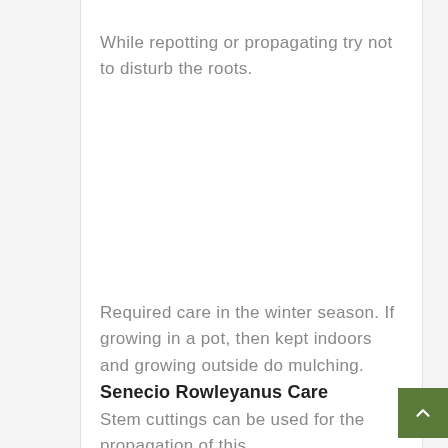While repotting or propagating try not to disturb the roots.
Required care in the winter season. If growing in a pot, then kept indoors and growing outside do mulching.
Senecio Rowleyanus Care
Stem cuttings can be used for the propagation of this